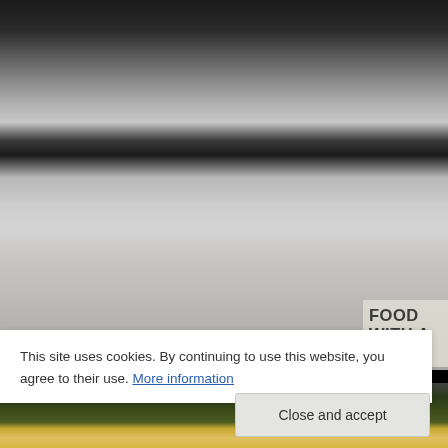[Figure (photo): Blurry dark and grey abstract background image, possibly a blurred food photograph, with a dark band across the middle and lighter grey areas above and below. A food blog logo 'FOOD WITH A VIEW' appears in the lower right corner on a translucent background.]
This site uses cookies. By continuing to use this website, you agree to their use. More information
Close and accept